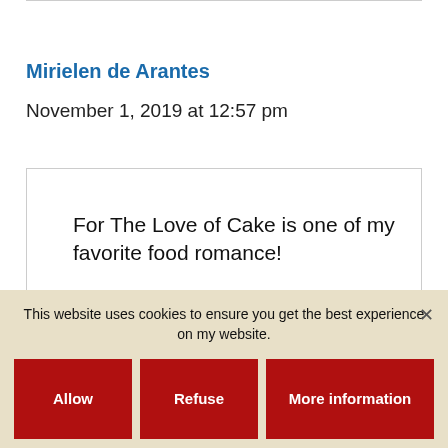Mirielen de Arantes
November 1, 2019 at 12:57 pm
For The Love of Cake is one of my favorite food romance!
Reply
This website uses cookies to ensure you get the best experience on my website.
Allow
Refuse
More information
Ánge…
November 1, 2019 at 4:38 pm